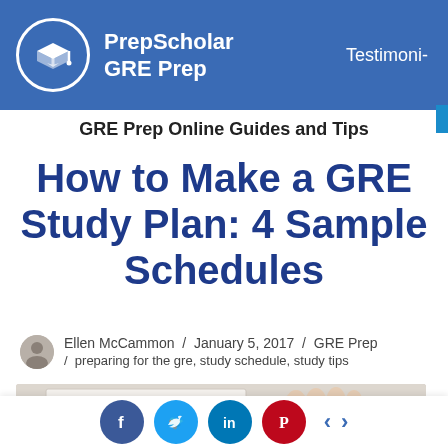PrepScholar GRE Prep  Testimoni-
GRE Prep Online Guides and Tips
How to Make a GRE Study Plan: 4 Sample Schedules
Ellen McCammon / January 5, 2017 / GRE Prep / preparing for the gre, study schedule, study tips
[Figure (photo): Partial photo of a person writing notes, visible at bottom of page]
[Figure (infographic): Social sharing buttons: Facebook, Twitter, LinkedIn, Pinterest with left and right navigation arrows]